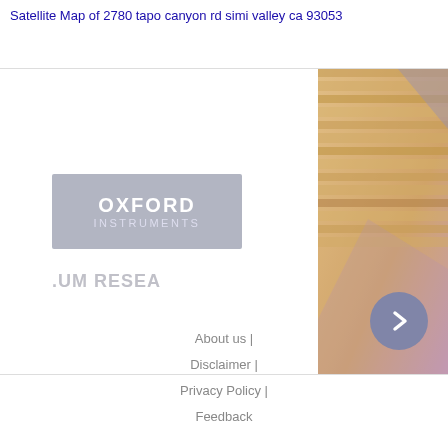Satellite Map of 2780 tapo canyon rd simi valley ca 93053
[Figure (advertisement): Advertisement banner featuring Oxford Instruments logo on the left side with text 'OXFORD INSTRUMENTS' and 'UM RESEA' partially visible, alongside a partially visible image of stacked wooden planks or lumber on the right side. A circular navigation arrow button appears at the bottom right.]
About us | Disclaimer | Privacy Policy | Feedback